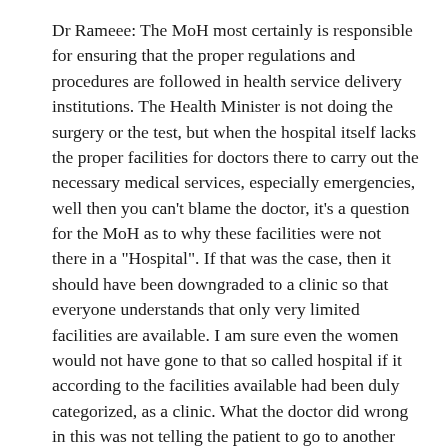Dr Rameee: The MoH most certainly is responsible for ensuring that the proper regulations and procedures are followed in health service delivery institutions. The Health Minister is not doing the surgery or the test, but when the hospital itself lacks the proper facilities for doctors there to carry out the necessary medical services, especially emergencies, well then you can't blame the doctor, it's a question for the MoH as to why these facilities were not there in a "Hospital". If that was the case, then it should have been downgraded to a clinic so that everyone understands that only very limited facilities are available. I am sure even the women would not have gone to that so called hospital if it according to the facilities available had been duly categorized, as a clinic. What the doctor did wrong in this was not telling the patient to go to another hospital, with the facilities available to look after